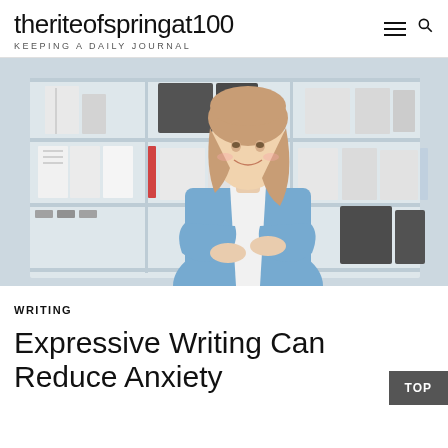theriteofspringat100 | KEEPING A DAILY JOURNAL
[Figure (photo): A smiling young woman in a blue blazer with arms crossed, standing in front of office shelves with binders and boxes, blurred background.]
WRITING
Expressive Writing Can Reduce Anxiety